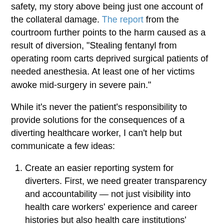safety, my story above being just one account of the collateral damage. The report from the courtroom further points to the harm caused as a result of diversion, "Stealing fentanyl from operating room carts deprived surgical patients of needed anesthesia. At least one of her victims awoke mid-surgery in severe pain."
While it's never the patient's responsibility to provide solutions for the consequences of a diverting healthcare worker, I can't help but communicate a few ideas:
Create an easier reporting system for diverters. First, we need greater transparency and accountability — not just visibility into health care workers' experience and career histories but also health care institutions' investigations into suspicious activities. I've spoken about the invention of a national database to keep track of this.
Hold space for educational opportunities. Customer helplines have been a great start for patients to have